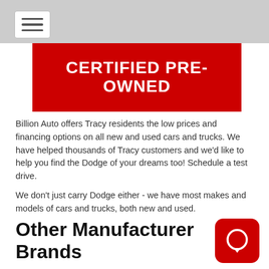[Figure (other): Red banner with bold white text reading CERTIFIED PRE-OWNED]
Billion Auto offers Tracy residents the low prices and financing options on all new and used cars and trucks. We have helped thousands of Tracy customers and we'd like to help you find the Dodge of your dreams too! Schedule a test drive.
We don't just carry Dodge either - we have most makes and models of cars and trucks, both new and used.
Other Manufacturer Brands
Buick
Chevrolet
Cadillac
GMC
Jeep
Chrysler
Ram
Fiat